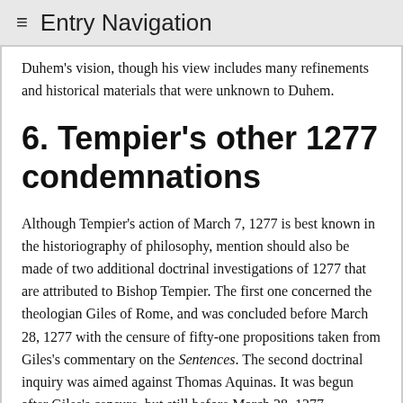≡ Entry Navigation
Duhem's vision, though his view includes many refinements and historical materials that were unknown to Duhem.
6. Tempier's other 1277 condemnations
Although Tempier's action of March 7, 1277 is best known in the historiography of philosophy, mention should also be made of two additional doctrinal investigations of 1277 that are attributed to Bishop Tempier. The first one concerned the theologian Giles of Rome, and was concluded before March 28, 1277 with the censure of fifty-one propositions taken from Giles's commentary on the Sentences. The second doctrinal inquiry was aimed against Thomas Aquinas. It was begun after Giles's censure, but still before March 28, 1277. According to Robert Wielockx, the inquiry against Thomas Aquinas was never completed. Basing his